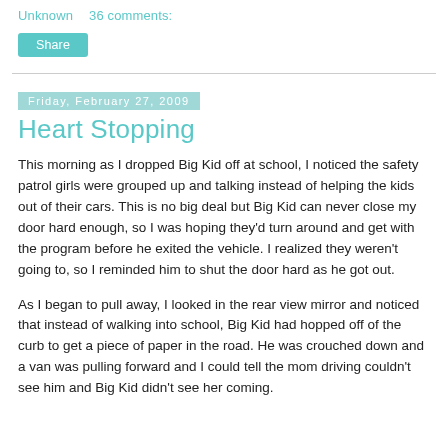Unknown    36 comments:
Share
Heart Stopping
Friday, February 27, 2009
This morning as I dropped Big Kid off at school, I noticed the safety patrol girls were grouped up and talking instead of helping the kids out of their cars. This is no big deal but Big Kid can never close my door hard enough, so I was hoping they'd turn around and get with the program before he exited the vehicle. I realized they weren't going to, so I reminded him to shut the door hard as he got out.
As I began to pull away, I looked in the rear view mirror and noticed that instead of walking into school, Big Kid had hopped off of the curb to get a piece of paper in the road. He was crouched down and a van was pulling forward and I could tell the mom driving couldn't see him and Big Kid didn't see her coming.